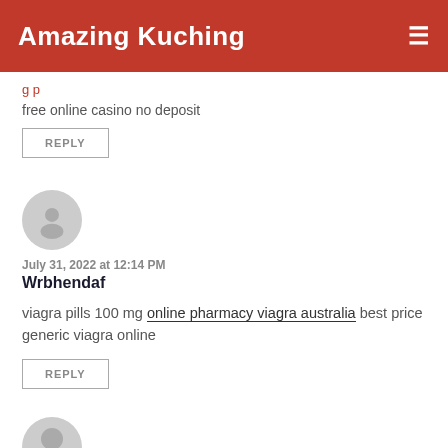Amazing Kuching
free online casino no deposit
REPLY
July 31, 2022 at 12:14 PM
Wrbhendaf
viagra pills 100 mg online pharmacy viagra australia best price generic viagra online
REPLY